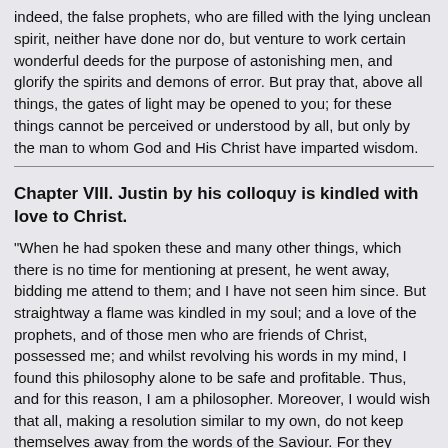indeed, the false prophets, who are filled with the lying unclean spirit, neither have done nor do, but venture to work certain wonderful deeds for the purpose of astonishing men, and glorify the spirits and demons of error. But pray that, above all things, the gates of light may be opened to you; for these things cannot be perceived or understood by all, but only by the man to whom God and His Christ have imparted wisdom.
Chapter VIII. Justin by his colloquy is kindled with love to Christ.
"When he had spoken these and many other things, which there is no time for mentioning at present, he went away, bidding me attend to them; and I have not seen him since. But straightway a flame was kindled in my soul; and a love of the prophets, and of those men who are friends of Christ, possessed me; and whilst revolving his words in my mind, I found this philosophy alone to be safe and profitable. Thus, and for this reason, I am a philosopher. Moreover, I would wish that all, making a resolution similar to my own, do not keep themselves away from the words of the Saviour. For they possess a terrible power in themselves, and are sufficient to inspire those who turn aside from the path of